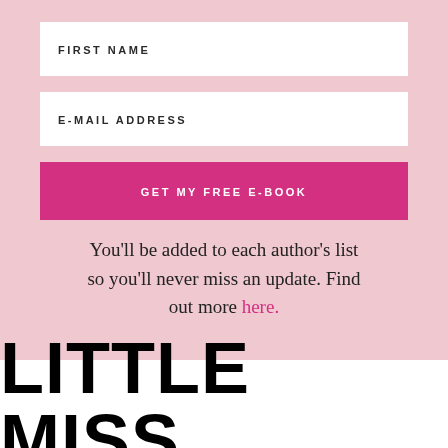[Figure (screenshot): Sign-up form with FIRST NAME field, E-MAIL ADDRESS field, and GET MY FREE E-BOOK pink button on a pink background]
You'll be added to each author's list so you'll never miss an update. Find out more here.
LITTLE MISS